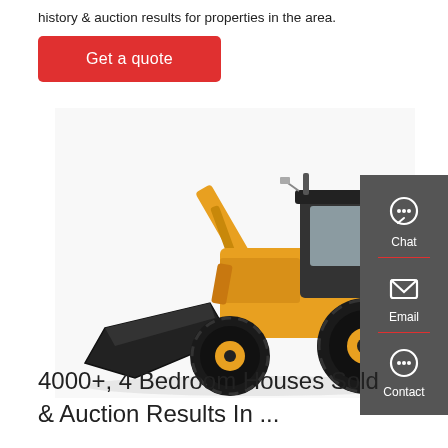history & auction results for properties in the area.
Get a quote
[Figure (photo): Yellow LiuGong wheel loader / front-end loader construction machine on white background]
[Figure (infographic): Sidebar with Chat, Email, and Contact icons on dark grey background with red dividers]
4000+, 4 Bedroom Houses Sold & Auction Results In ...